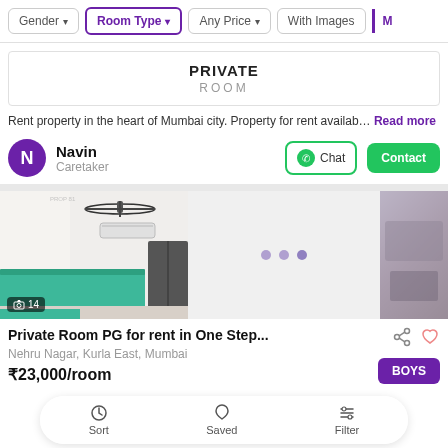Filter bar: Gender, Room Type (active), Any Price, With Images, More
PRIVATE
ROOM
Rent property in the heart of Mumbai city. Property for rent availab… Read more
Navin
Caretaker
[Figure (photo): Room photo showing ceiling fan, bed with green mattress, air conditioner, and window. Gallery with 14 images indicator and additional placeholder panels.]
Private Room PG for rent in One Step...
Nehru Nagar, Kurla East, Mumbai
₹23,000/room
BOYS